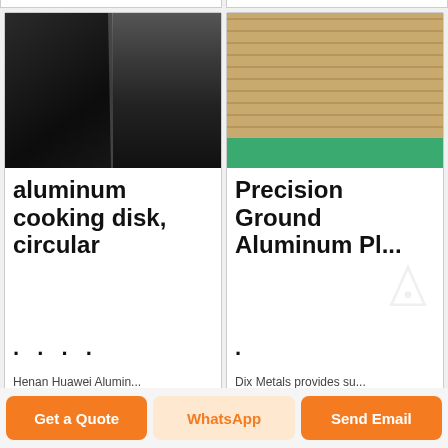[Figure (photo): Dark aluminum cooking disk/circle, close-up showing reflective dark metal surface with vertical crease or fold]
aluminum cooking disk, circular
Henan Huawei Alumin...
[Figure (photo): Stacked aluminum sheets/plates wrapped in wood/cardboard packaging on green warehouse floor]
Precision Ground Aluminum Pl...
Dix Metals provides su...
[Figure (photo): Partial view of stacked aluminum sheets with red strapping]
[Figure (photo): Partial view of stacked aluminum sheets]
Get a Quote
WhatsApp
Send Email